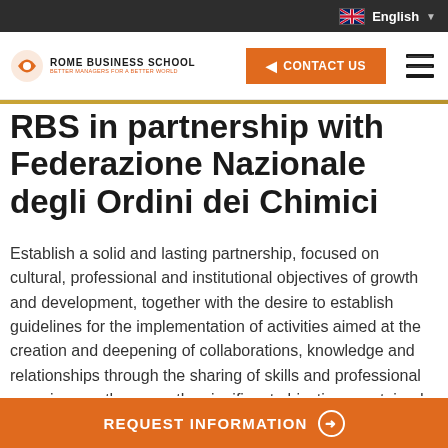English
[Figure (logo): Rome Business School logo with emblem and text]
RBS in partnership with Federazione Nazionale degli Ordini dei Chimici
Establish a solid and lasting partnership, focused on cultural, professional and institutional objectives of growth and development, together with the desire to establish guidelines for the implementation of activities aimed at the creation and deepening of collaborations, knowledge and relationships through the sharing of skills and professional experiences: these are the significant objectives contained in the collaboration agreement between the National Federation of Chemists and Physicists (NFCP) and Rome Business School
REQUEST INFORMATION